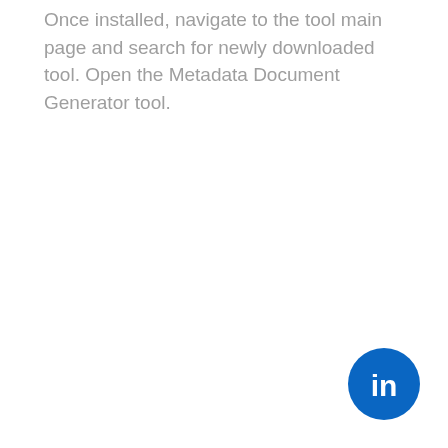Once installed, navigate to the tool main page and search for newly downloaded tool. Open the Metadata Document Generator tool.
[Figure (logo): LinkedIn logo — white 'in' text on a blue circle]